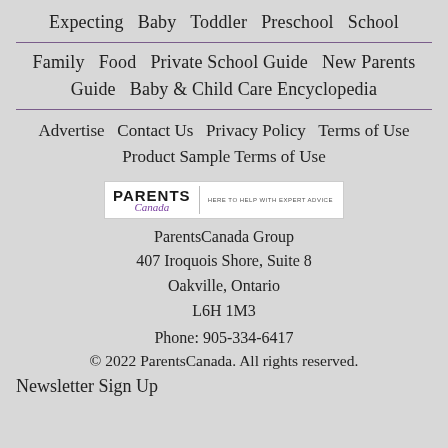Expecting  Baby  Toddler  Preschool  School
Family  Food  Private School Guide  New Parents Guide  Baby & Child Care Encyclopedia
Advertise  Contact Us  Privacy Policy  Terms of Use  Product Sample Terms of Use
[Figure (logo): Parents Canada logo with tagline HERE TO HELP WITH EXPERT ADVICE]
ParentsCanada Group
407 Iroquois Shore, Suite 8
Oakville, Ontario
L6H 1M3
Phone: 905-334-6417
© 2022 ParentsCanada. All rights reserved.
Newsletter Sign Up